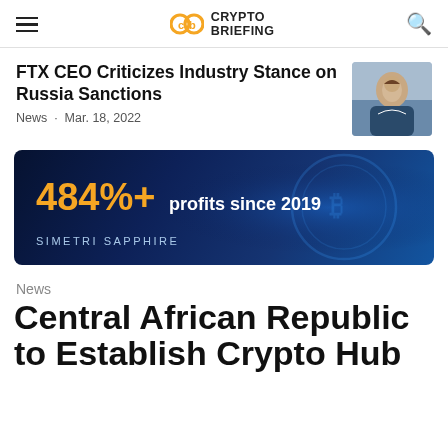Crypto Briefing
FTX CEO Criticizes Industry Stance on Russia Sanctions
News · Mar. 18, 2022
[Figure (infographic): Advertisement banner: '484%+ profits since 2019' with 'SIMETRI SAPPHIRE' branding on dark blue background with Bitcoin coin imagery]
News
Central African Republic to Establish Crypto Hub